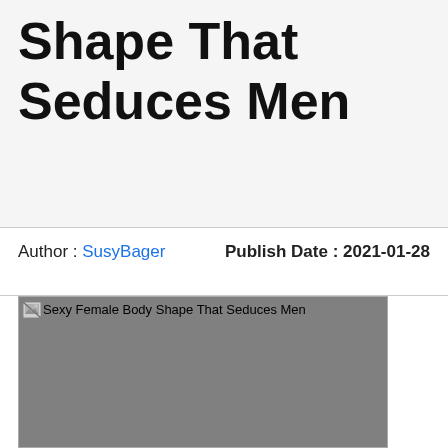Shape That Seduces Men
Author : SusyBager    Publish Date : 2021-01-28
[Figure (photo): Broken image placeholder for 'Sexy Female Body Shape That Seduces Men' — a gray rectangle with broken image icon and alt text.]